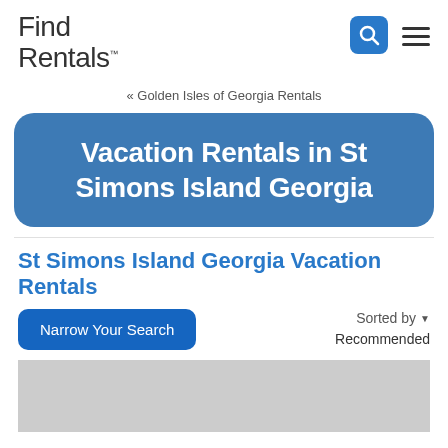Find Rentals
« Golden Isles of Georgia Rentals
Vacation Rentals in St Simons Island Georgia
St Simons Island Georgia Vacation Rentals
Narrow Your Search
Sorted by Recommended
[Figure (photo): Gray placeholder image block at the bottom of the page]